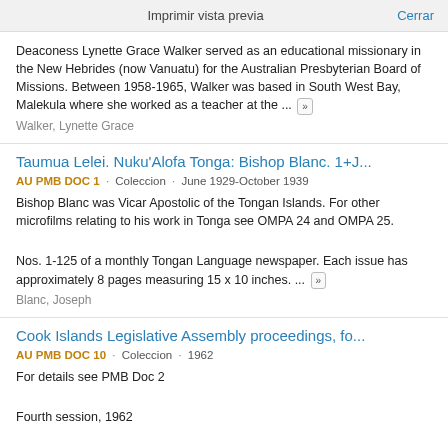Imprimir vista previa   Cerrar
Deaconess Lynette Grace Walker served as an educational missionary in the New Hebrides (now Vanuatu) for the Australian Presbyterian Board of Missions. Between 1958-1965, Walker was based in South West Bay, Malekula where she worked as a teacher at the ...
Walker, Lynette Grace
Taumua Lelei. Nuku'Alofa Tonga: Bishop Blanc. 1+J...
AU PMB DOC 1 · Coleccion · June 1929-October 1939
Bishop Blanc was Vicar Apostolic of the Tongan Islands. For other microfilms relating to his work in Tonga see OMPA 24 and OMPA 25.
Nos. 1-125 of a monthly Tongan Language newspaper. Each issue has approximately 8 pages measuring 15 x 10 inches. ...
Blanc, Joseph
Cook Islands Legislative Assembly proceedings, fo...
AU PMB DOC 10 · Coleccion · 1962
For details see PMB Doc 2
Fourth session, 1962